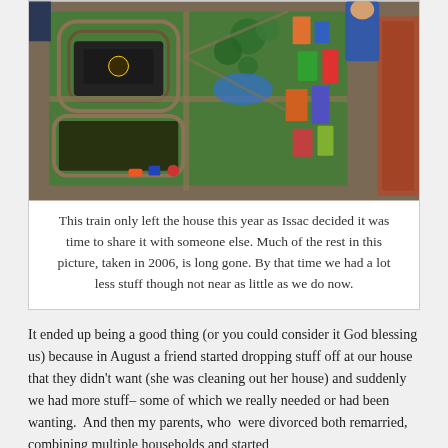[Figure (photo): Overhead view of a large toy train set with tracks, buildings, blocks, and play mat spread out on the floor. A child in blue clothing is partially visible at the top right. A patterned rug is visible at the far right.]
This train only left the house this year as Issac decided it was time to share it with someone else. Much of the rest in this picture, taken in 2006, is long gone. By that time we had a lot less stuff though not near as little as we do now.
It ended up being a good thing (or you could consider it God blessing us) because in August a friend started dropping stuff off at our house that they didn't want (she was cleaning out her house) and suddenly we had more stuff– some of which we really needed or had been wanting.  And then my parents, who  were divorced both remarried, combining multiple households and started